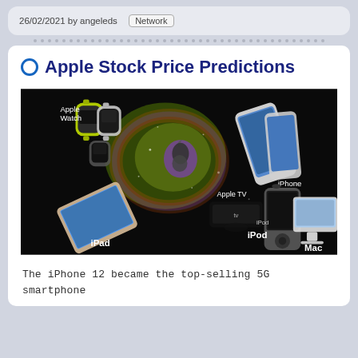26/02/2021 by angeleds  Network
Apple Stock Price Predictions
[Figure (photo): Promotional image of Apple products on a dark background including Apple Watch, iPhone, iPad, Apple TV, iPod, and Mac with the Apple logo in the center.]
The iPhone 12 became the top-selling 5G smartphone